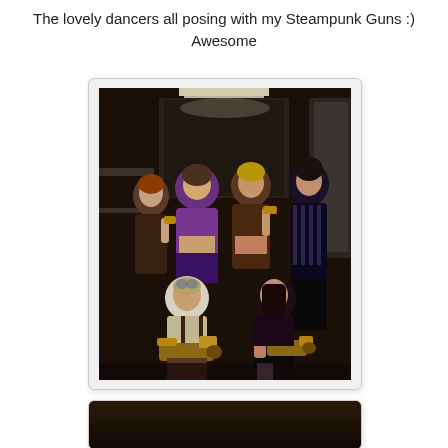The lovely dancers all posing with my Steampunk Guns :) Awesome
[Figure (photo): Group photo of six women in steampunk and gothic costumes posing with steampunk guns in what appears to be a backstage dressing room. Four women stand in the back row wearing corsets and dark outfits, while two women crouch in the front holding decorated steampunk prop guns.]
[Figure (photo): Partial view of another photo at the bottom of the page, mostly cut off.]